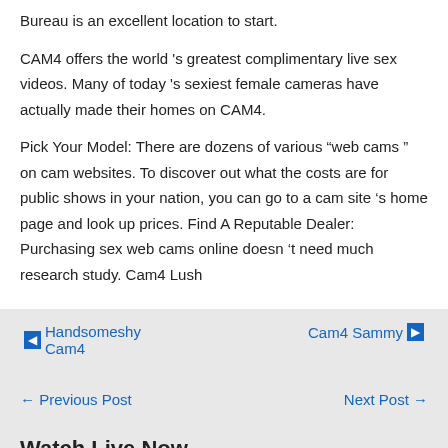Bureau is an excellent location to start.
CAM4 offers the world 's greatest complimentary live sex videos. Many of today 's sexiest female cameras have actually made their homes on CAM4.
Pick Your Model: There are dozens of various “web cams” on cam websites. To discover out what the costs are for public shows in your nation, you can go to a cam site 's home page and look up prices. Find A Reputable Dealer: Purchasing sex web cams online doesn 't need much research study. Cam4 Lush
◄ Handsomeshy Cam4
Cam4 Sammy ►
← Previous Post
Next Post →
Watch Live Now